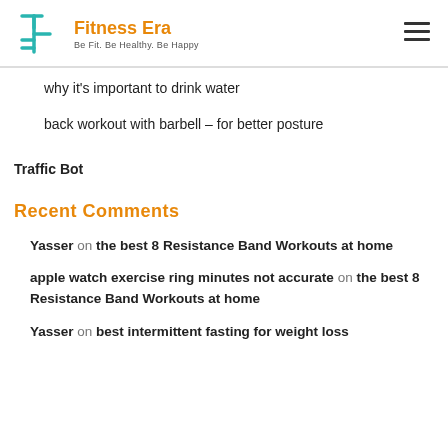Fitness Era — Be Fit. Be Healthy. Be Happy
why it's important to drink water
back workout with barbell – for better posture
Traffic Bot
Recent Comments
Yasser on the best 8 Resistance Band Workouts at home
apple watch exercise ring minutes not accurate on the best 8 Resistance Band Workouts at home
Yasser on best intermittent fasting for weight loss